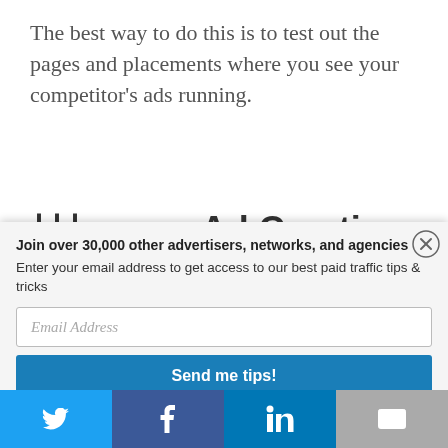The best way to do this is to test out the pages and placements where you see your competitor’s ads running.
Hillarde Ad Creatives
Join over 30,000 other advertisers, networks, and agencies
Enter your email address to get access to our best paid traffic tips & tricks
Email Address
Send me tips!